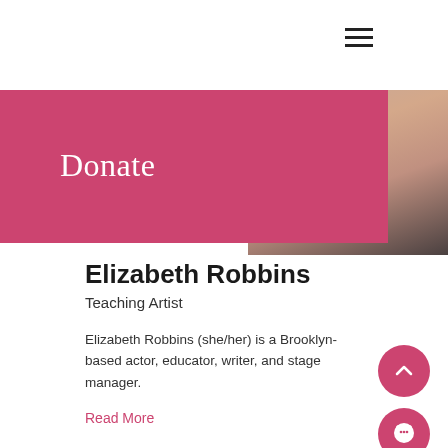Creative muse
Donate
[Figure (photo): Partial portrait photo of a woman with long reddish-brown hair against a grey background, upper body visible on right side of page.]
Elizabeth Robbins
Teaching Artist
Elizabeth Robbins (she/her) is a Brooklyn-based actor, educator, writer, and stage manager.
Read More